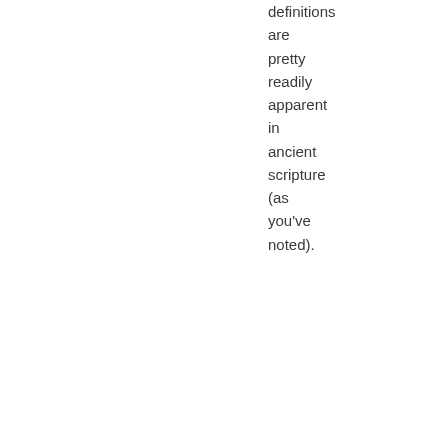definitions are pretty readily apparent in ancient scripture (as you've noted).
Comment by Geoff J — August 26, 2021 @ 10:27 am
......
11. I think the